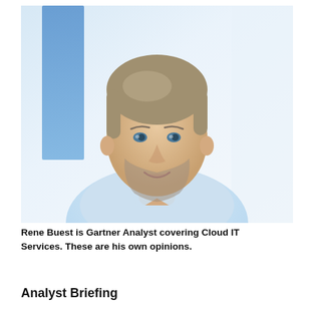[Figure (photo): Professional headshot of a man with short salt-and-pepper hair and a beard, wearing a light blue dress shirt. The background is blurred with light blue and white tones, suggesting a modern office environment.]
Rene Buest is Gartner Analyst covering Cloud IT Services. These are his own opinions.
Analyst Briefing